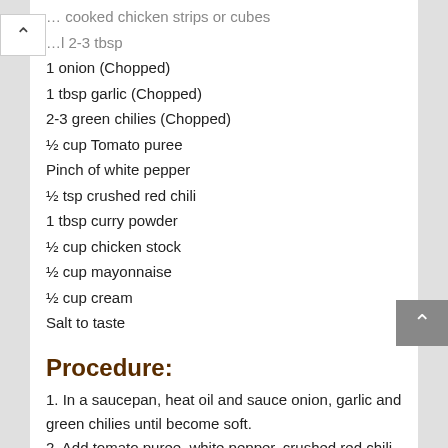… cooked chicken strips or cubes
…l 2-3 tbsp
1 onion (Chopped)
1 tbsp garlic (Chopped)
2-3 green chilies (Chopped)
½ cup Tomato puree
Pinch of white pepper
½ tsp crushed red chili
1 tbsp curry powder
½ cup chicken stock
½ cup mayonnaise
½ cup cream
Salt to taste
Procedure:
1. In a saucepan, heat oil and sauce onion, garlic and green chilies until become soft.
2. Add tomato puree, white pepper, crushed red chili, curry powder and salt and stir well to mix. Cook over medium heat for 3-5 mins. until mixture starts bubbling.